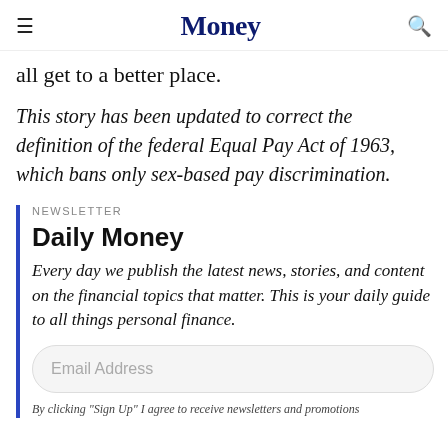Money
all get to a better place.
This story has been updated to correct the definition of the federal Equal Pay Act of 1963, which bans only sex-based pay discrimination.
NEWSLETTER
Daily Money
Every day we publish the latest news, stories, and content on the financial topics that matter. This is your daily guide to all things personal finance.
Email Address
By clicking "Sign Up" I agree to receive newsletters and promotions